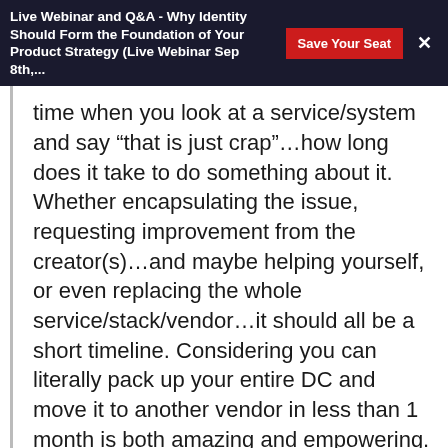Live Webinar and Q&A - Why Identity Should Form the Foundation of Your Product Strategy (Live Webinar Sep 8th,...
time when you look at a service/system and say “that is just crap”…how long does it take to do something about it. Whether encapsulating the issue, requesting improvement from the creator(s)…and maybe helping yourself, or even replacing the whole service/stack/vendor…it should all be a short timeline. Considering you can literally pack up your entire DC and move it to another vendor in less than 1 month is both amazing and empowering.
InfoQ: When do you start thinking about how to run (cloud) infrastructure at scale? Right away? After initial projects? Not until you feel pain?